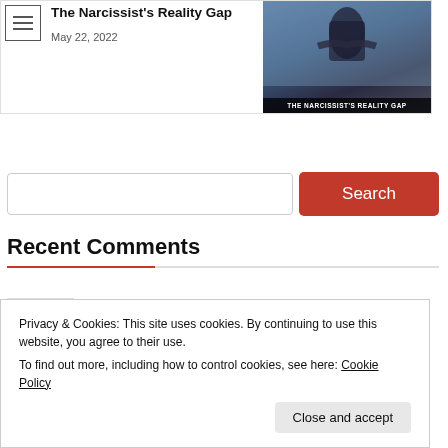The Narcissist's Reality Gap
May 22, 2022
[Figure (photo): Thumbnail image for 'The Narcissist's Reality Gap' article showing a person with arms crossed, with overlaid text 'THE NARCISSIST'S REALITY GAP']
Search
Recent Comments
Anna on On Your Marks,Get Set, Stay!
Privacy & Cookies: This site uses cookies. By continuing to use this website, you agree to their use.
To find out more, including how to control cookies, see here: Cookie Policy
Close and accept